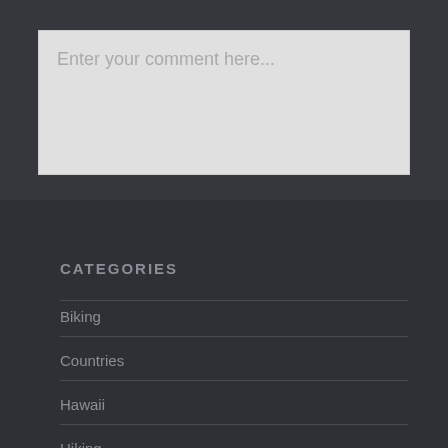Enter your comment here...
CATEGORIES
Biking
Countries
Hawaii
Hiking